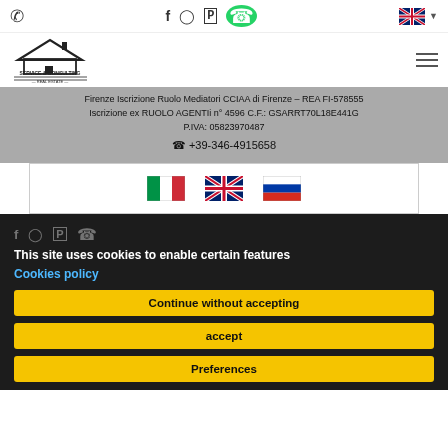Service & Consulting Real Estate – header navigation with phone, social icons, language selector, and logo
Firenze Iscrizione Ruolo Mediatori CCIAA di Firenze – REA FI-578555
Iscrizione ex RUOLO AGENTIi n° 4596 C.F.: GSARRT70L18E441G
P.IVA: 05823970487
☎ +39-346-4915658
[Figure (other): Flag icons: Italian flag, UK flag, Russian flag for language selection]
This site uses cookies to enable certain features
Cookies policy
Continue without accepting
accept
Preferences